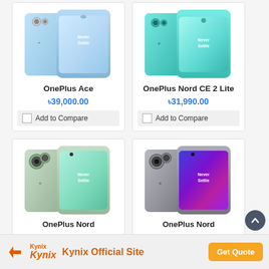[Figure (photo): OnePlus Ace smartphone product image showing front and back views in light blue color]
OnePlus Ace
৳39,000.00
Add to Compare
[Figure (photo): OnePlus Nord CE 2 Lite smartphone product image showing front and back views in cyan/teal color]
OnePlus Nord CE 2 Lite
৳31,990.00
Add to Compare
[Figure (photo): OnePlus Nord 2 smartphone product image showing front and back views in light green color]
OnePlus Nord
[Figure (photo): OnePlus Nord CE 2T smartphone product image showing front and back views in gray with purple/blue display]
OnePlus Nord
Kynix Official Site
Get Quote